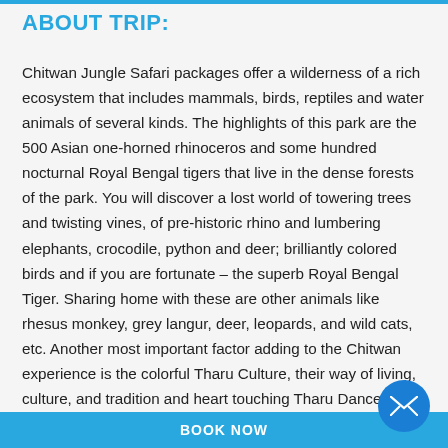ABOUT TRIP:
Chitwan Jungle Safari packages offer a wilderness of a rich ecosystem that includes mammals, birds, reptiles and water animals of several kinds. The highlights of this park are the 500 Asian one-horned rhinoceros and some hundred nocturnal Royal Bengal tigers that live in the dense forests of the park. You will discover a lost world of towering trees and twisting vines, of pre-historic rhino and lumbering elephants, crocodile, python and deer; brilliantly colored birds and if you are fortunate – the superb Royal Bengal Tiger. Sharing home with these are other animals like rhesus monkey, grey langur, deer, leopards, and wild cats, etc. Another most important factor adding to the Chitwan experience is the colorful Tharu Culture, their way of living, culture, and tradition and heart touching Tharu Dance. Here you will do many activities jungle Safari on elephant back, jungle walk, canoe trip drive and much more.
BOOK NOW